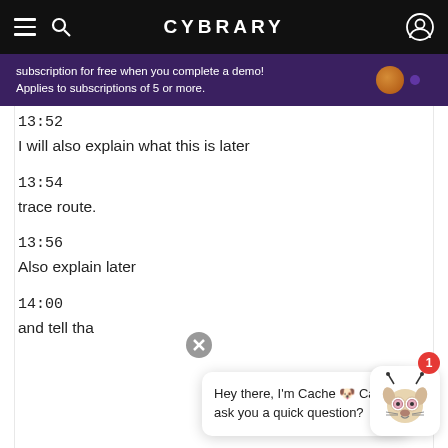CYBRARY
subscription for free when you complete a demo! Applies to subscriptions of 5 or more.
13:52
I will also explain what this is later
13:54
trace route.
13:56
Also explain later
14:00
and tell tha
Hey there, I'm Cache 🐾 Can I ask you a quick question?